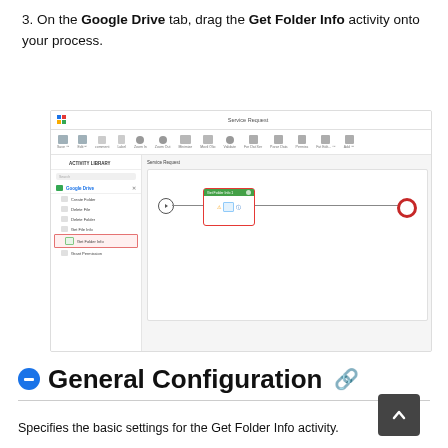3. On the Google Drive tab, drag the Get Folder Info activity onto your process.
[Figure (screenshot): Screenshot of a workflow editor showing the Google Drive activity library panel on the left with 'Get Folder Info' highlighted, and a process canvas on the right with a 'Get Folder Info 1' node placed between start and end nodes.]
General Configuration
Specifies the basic settings for the Get Folder Info activity.